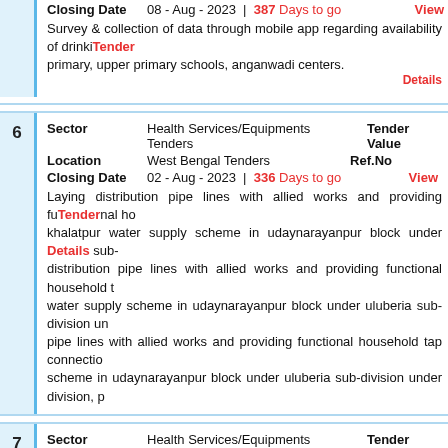Closing Date   08 - Aug - 2023  |  387 Days to go   View
Survey & collection of data through mobile app regarding availability of drinking water... primary, upper primary schools, anganwadi centers.   Tender Details
6  Sector  Health Services/Equipments Tenders  Tender Value
   Location  West Bengal Tenders  Ref.No
   Closing Date  02 - Aug - 2023 | 336 Days to go  View
   Laying distribution pipe lines with allied works and providing functional household... khalatpur water supply scheme in udaynarayanpur block under uluberia sub-division... Tender Details
7  Sector  Health Services/Equipments Tenders  Tender Value
   Location  West Bengal Tenders  Ref.No
   Closing Date  11 - Jul - 2023 | 314 Days to go  View
   Replacement of non functioning submersible pumping machinery and allied works... site under malbazar municipality in the district under nmd, phe horizontal river... functional house tap connections for shyamsundarpur (zone - iia & iib) and la... connections for simlapal water supply scheme.  Tender Details